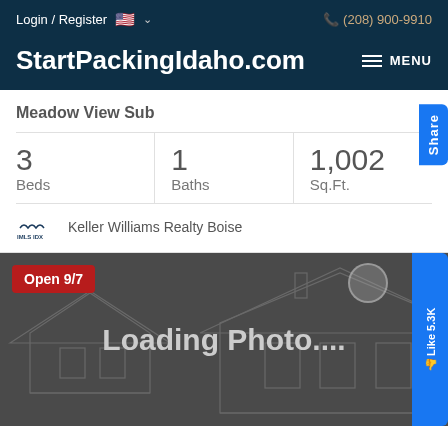Login / Register  🇺🇸 ∨  (208) 900-9910
StartPackingIdaho.com
Meadow View Sub
| Beds | Baths | Sq.Ft. |
| --- | --- | --- |
| 3 | 1 | 1,002 |
Keller Williams Realty Boise
[Figure (photo): Property listing photo area showing 'Loading Photo...' placeholder with house line-art silhouette on dark background. Red badge reads 'Open 9/7'.]